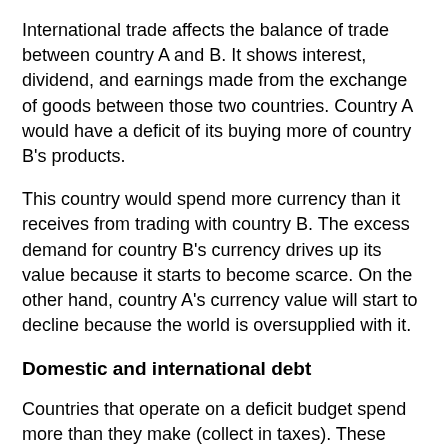International trade affects the balance of trade between country A and B. It shows interest, dividend, and earnings made from the exchange of goods between those two countries. Country A would have a deficit of its buying more of country B's products.
This country would spend more currency than it receives from trading with country B. The excess demand for country B's currency drives up its value because it starts to become scarce. On the other hand, country A's currency value will start to decline because the world is oversupplied with it.
Domestic and international debt
Countries that operate on a deficit budget spend more than they make (collect in taxes). These countries often turn to internal or international borrowing to fill the gap in their finances and stimulate the economy.
However, that can lead to a massive public debt that discourages foreign investment and depreciation...